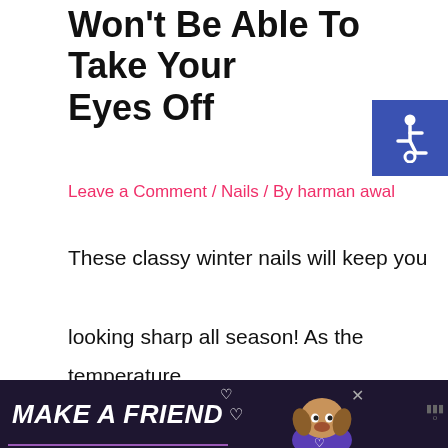Won't Be Able To Take Your Eyes Off
Leave a Comment / Nails / By harman awal
These classy winter nails will keep you looking sharp all season! As the temperature outside starts to drop, we all know that it's only a …
Read More »
[Figure (other): Accessibility icon in blue square (wheelchair symbol)]
[Figure (other): Advertisement banner: MAKE A FRIEND with dog photo, dark purple background]